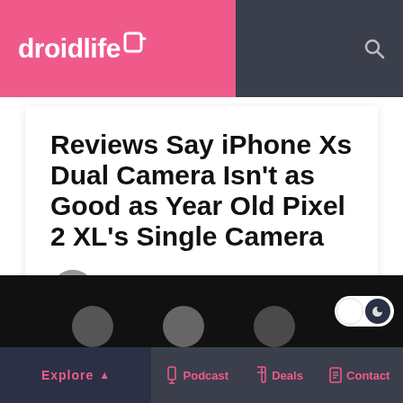droidlife
Reviews Say iPhone Xs Dual Camera Isn't as Good as Year Old Pixel 2 XL's Single Camera
Kellen
September 19, 2018
Share  424  68
Explore  Podcast  Deals  Contact